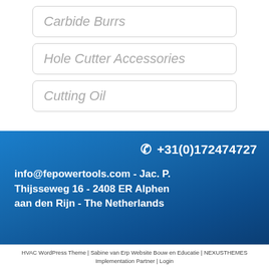Carbide Burrs
Hole Cutter Accessories
Cutting Oil
+31(0)172474727
info@fepowertools.com - Jac. P. Thijsseweg 16 - 2408 ER Alphen aan den Rijn - The Netherlands
HVAC WordPress Theme | Sabine van Erp Website Bouw en Educatie | NEXUSTHEMES Implementation Partner | Login